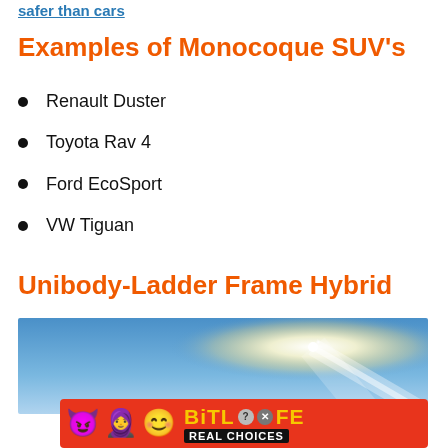safer than cars
Examples of Monocoque SUV's
Renault Duster
Toyota Rav 4
Ford EcoSport
VW Tiguan
Unibody-Ladder Frame Hybrid
[Figure (photo): Blue sky with bright sunburst/lens flare effect]
[Figure (photo): BitLife advertisement banner with emojis and 'REAL CHOICES' text on red background]